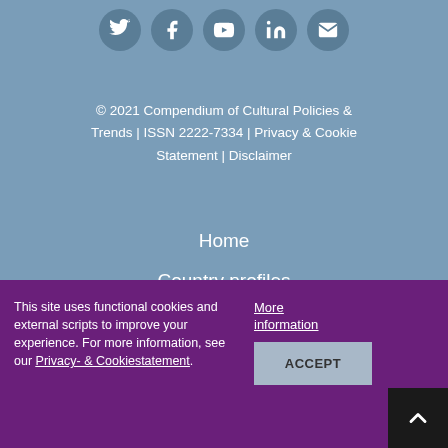[Figure (illustration): Row of 5 social media icon circles: Twitter, Facebook, YouTube, LinkedIn, Email]
© 2021 Compendium of Cultural Policies & Trends | ISSN 2222-7334 | Privacy & Cookie Statement | Disclaimer
Home
Country profiles
Search by country
Search by filter
This site uses functional cookies and external scripts to improve your experience. For more information, see our Privacy- & Cookiestatement.
More information
ACCEPT